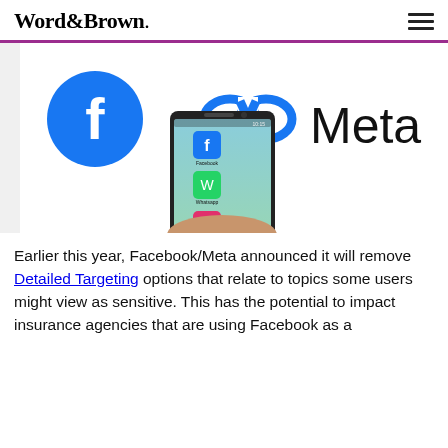Word&Brown.
[Figure (photo): Photo showing a hand holding a smartphone with Facebook, WhatsApp, and Instagram apps visible on screen, in front of a sign showing Facebook logo arrow pointing to Meta logo with the word Meta]
Earlier this year, Facebook/Meta announced it will remove Detailed Targeting options that relate to topics some users might view as sensitive. This has the potential to impact insurance agencies that are using Facebook as a